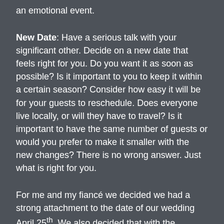an emotional event.
New Date: Have a serious talk with your significant other. Decide on a new date that feels right for you. Do you want it as soon as possible? Is it important to you to keep it within a certain season? Consider how easy it will be for your guests to reschedule. Does everyone live locally, or will they have to travel? Is it important to have the same number of guests or would you prefer to make it smaller with the new changes? There is no wrong answer. Just what is right for you.
For me and my fiancé we decided we had a strong attachment to the date of our wedding April 25th. We also decided that with the financial hardships brought